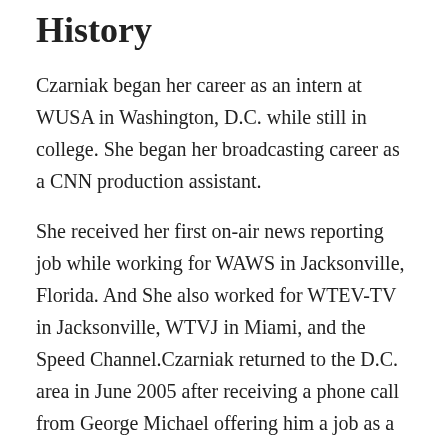History
Czarniak began her career as an intern at WUSA in Washington, D.C. while still in college. She began her broadcasting career as a CNN production assistant.
She received her first on-air news reporting job while working for WAWS in Jacksonville, Florida. And She also worked for WTEV-TV in Jacksonville, WTVJ in Miami, and the Speed Channel.Czarniak returned to the D.C. area in June 2005 after receiving a phone call from George Michael offering him a job as a sports anchor and reporter.
She joined George Michael's Sports Machine as a